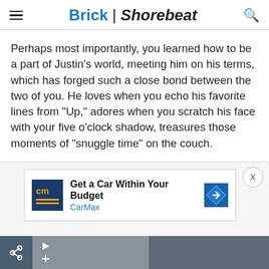Brick | Shorebeat
Perhaps most importantly, you learned how to be a part of Justin’s world, meeting him on his terms, which has forged such a close bond between the two of you. He loves when you echo his favorite lines from “Up,” adores when you scratch his face with your five o’clock shadow, treasures those moments of “snuggle time” on the couch.
He loves you, truly and deeply, with a connection forged in your relentless pursuit to bond with him.
[Figure (screenshot): Advertisement overlay showing CarMax ad: 'Get a Car Within Your Budget' with CarMax logo and navigation arrow icon, plus a close (X) button]